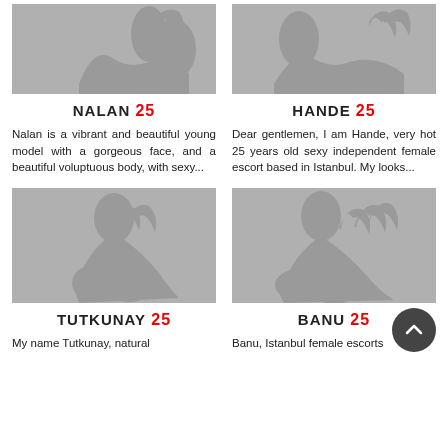[Figure (illustration): Silhouette placeholder image of a female figure for Nalan]
[Figure (illustration): Silhouette placeholder image of a female figure for Hande]
NALAN 25
HANDE 25
Nalan is a vibrant and beautiful young model with a gorgeous face, and a beautiful voluptuous body, with sexy...
Dear gentlemen, I am Hande, very hot 25 years old sexy independent female escort based in Istanbul. My looks...
[Figure (illustration): Silhouette placeholder image of a female figure for Tutkunay]
[Figure (illustration): Silhouette placeholder image of a female figure for Banu]
TUTKUNAY 25
BANU 25
My name Tutkunay, natural
Banu, Istanbul female escorts